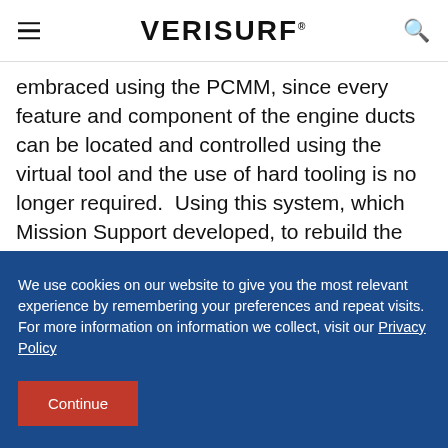VERISURF
embraced using the PCMM, since every feature and component of the engine ducts can be located and controlled using the virtual tool and the use of hard tooling is no longer required.  Using this system, which Mission Support developed, to rebuild the
We use cookies on our website to give you the most relevant experience by remembering your preferences and repeat visits.
For more information on information we collect, visit our Privacy Policy
Continue